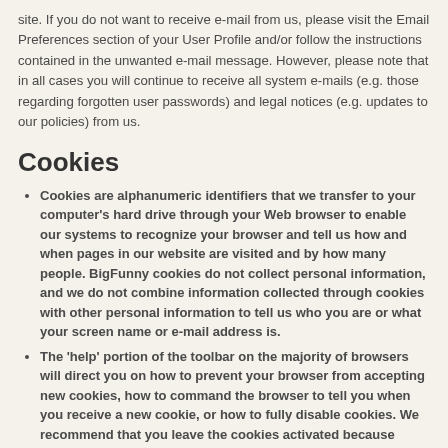site. If you do not want to receive e-mail from us, please visit the Email Preferences section of your User Profile and/or follow the instructions contained in the unwanted e-mail message. However, please note that in all cases you will continue to receive all system e-mails (e.g. those regarding forgotten user passwords) and legal notices (e.g. updates to our policies) from us.
Cookies
Cookies are alphanumeric identifiers that we transfer to your computer's hard drive through your Web browser to enable our systems to recognize your browser and tell us how and when pages in our website are visited and by how many people. BigFunny cookies do not collect personal information, and we do not combine information collected through cookies with other personal information to tell us who you are or what your screen name or e-mail address is.
The 'help' portion of the toolbar on the majority of browsers will direct you on how to prevent your browser from accepting new cookies, how to command the browser to tell you when you receive a new cookie, or how to fully disable cookies. We recommend that you leave the cookies activated because cookies allow you to use some of BigFunny's coolest features.
Some of our business partners, like our advertisers, may use cookies on our website. We have no access to, or control over, these cookies.